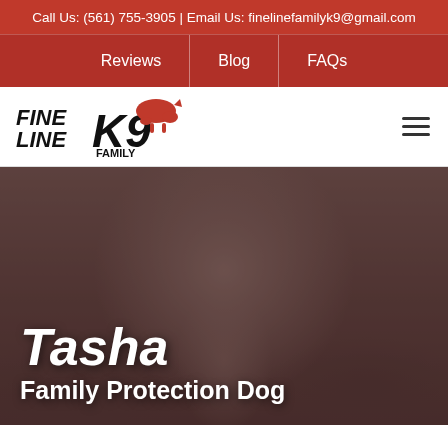Call Us: (561) 755-3905 | Email Us: finelinefamilyk9@gmail.com
Reviews | Blog | FAQs
[Figure (logo): Fine Line Family K9 logo with dog silhouette graphic]
[Figure (photo): Hero image showing a man with two children and two German Shepherd dogs, overlaid with text 'Tasha Family Protection Dog']
Tasha
Family Protection Dog